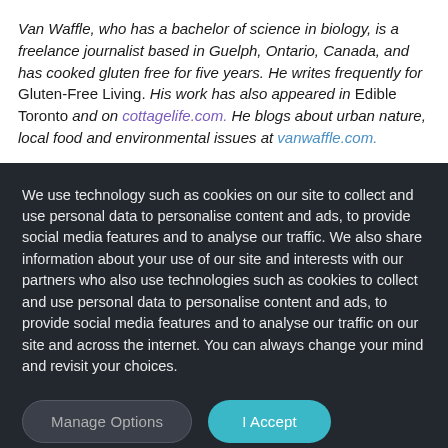Van Waffle, who has a bachelor of science in biology, is a freelance journalist based in Guelph, Ontario, Canada, and has cooked gluten free for five years. He writes frequently for Gluten-Free Living. His work has also appeared in Edible Toronto and on cottagelife.com. He blogs about urban nature, local food and environmental issues at vanwaffle.com.
We use technology such as cookies on our site to collect and use personal data to personalise content and ads, to provide social media features and to analyse our traffic. We also share information about your use of our site and interests with our partners who also use technologies such as cookies to collect and use personal data to personalise content and ads, to provide social media features and to analyse our traffic on our site and across the internet. You can always change your mind and revisit your choices.